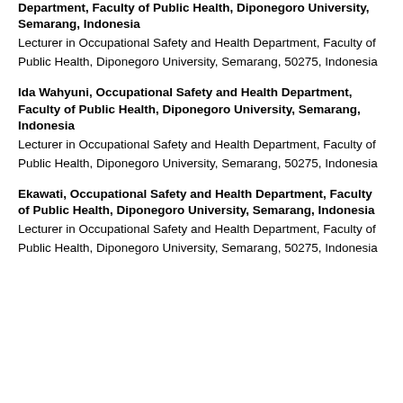Department, Faculty of Public Health, Diponegoro University, Semarang, Indonesia (bold, partial — top of page)
Lecturer in Occupational Safety and Health Department, Faculty of Public Health, Diponegoro University, Semarang, 50275, Indonesia
Ida Wahyuni, Occupational Safety and Health Department, Faculty of Public Health, Diponegoro University, Semarang, Indonesia
Lecturer in Occupational Safety and Health Department, Faculty of Public Health, Diponegoro University, Semarang, 50275, Indonesia
Ekawati, Occupational Safety and Health Department, Faculty of Public Health, Diponegoro University, Semarang, Indonesia
Lecturer in Occupational Safety and Health Department, Faculty of Public Health, Diponegoro University, Semarang, 50275, Indonesia